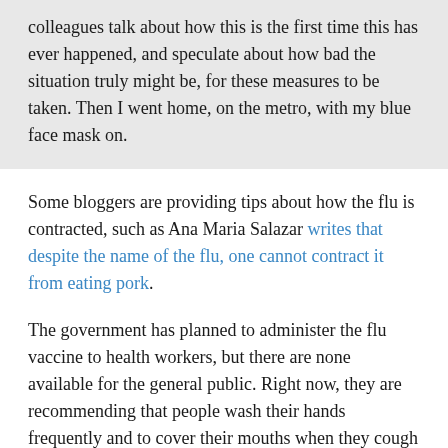colleagues talk about how this is the first time this has ever happened, and speculate about how bad the situation truly might be, for these measures to be taken. Then I went home, on the metro, with my blue face mask on.
Some bloggers are providing tips about how the flu is contracted, such as Ana Maria Salazar writes that despite the name of the flu, one cannot contract it from eating pork.
The government has planned to administer the flu vaccine to health workers, but there are none available for the general public. Right now, they are recommending that people wash their hands frequently and to cover their mouths when they cough or sneeze, among other measures.
Categories
Latin America, Mexico